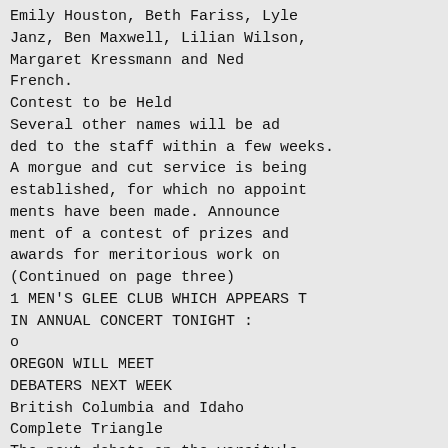Emily Houston, Beth Fariss, Lyle Janz, Ben Maxwell, Lilian Wilson, Margaret Kressmann and Ned French.
Contest to be Held
Several other names will be ad ded to the staff within a few weeks. A morgue and cut service is being established, for which no appoint ments have been made. Announce ment of a contest of prizes and awards for meritorious work on (Continued on page three)
1 MEN'S GLEE CLUB WHICH APPEARS T IN ANNUAL CONCERT TONIGHT :
o
OREGON WILL MEET DEBATERS NEXT WEEK
British Columbia and Idaho Complete Triangle
The next debate on the varsity's program for this year will be the tri angular meet to be held with the universities of Idaho and British